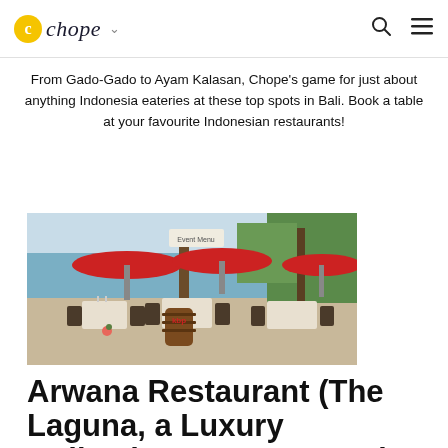chope
From Gado-Gado to Ayam Kalasan, Chope's game for just about anything Indonesia eateries at these top spots in Bali. Book a table at your favourite Indonesian restaurants!
[Figure (photo): Outdoor beachside restaurant seating area with red umbrellas, dark wicker chairs, white table settings, and a wooden barrel near a tree. Ocean and tropical greenery visible in background.]
Arwana Restaurant (The Laguna, a Luxury Collection Resort & Spa)